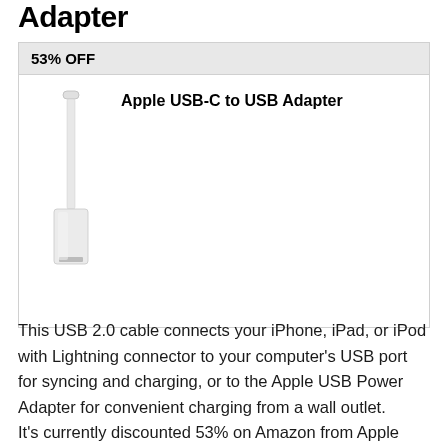Adapter
53% OFF
[Figure (photo): Apple USB-C to USB Adapter product photo showing a white cable adapter with USB-C connector on one end and a USB-A port on the other end]
Apple USB-C to USB Adapter
This USB 2.0 cable connects your iPhone, iPad, or iPod with Lightning connector to your computer's USB port for syncing and charging, or to the Apple USB Power Adapter for convenient charging from a wall outlet. It's currently discounted 53% on Amazon from Apple